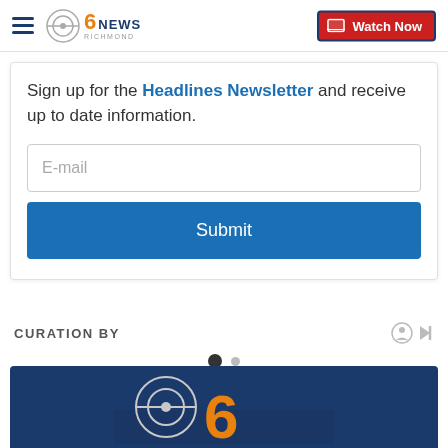CBS 6 News Richmond — Watch Now
Sign up for the Headlines Newsletter and receive up to date information.
[Figure (screenshot): Email input field with placeholder text E-mail]
[Figure (screenshot): Submit button in dark blue]
CURATION BY
[Figure (screenshot): Carousel pagination dots — one filled, one empty]
[Figure (screenshot): CBS 6 News Richmond logo on dark blue background at bottom of page]